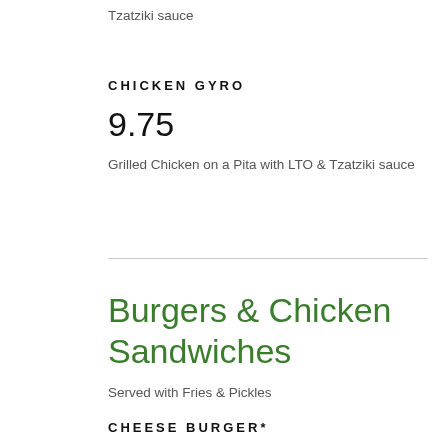Tzatziki sauce
CHICKEN GYRO
9.75
Grilled Chicken on a Pita with LTO & Tzatziki sauce
Burgers & Chicken Sandwiches
Served with Fries & Pickles
CHEESE BURGER*
9.95